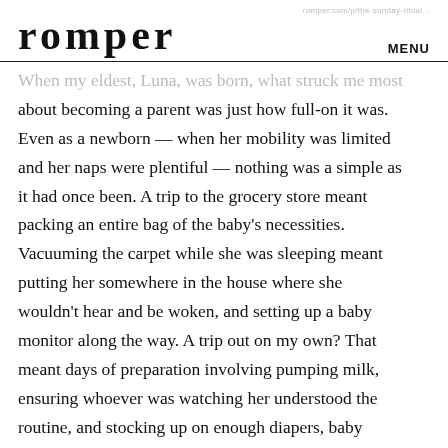romper   MENU
When my eldest, Luna, was born, what struck me most about becoming a parent was just how full-on it was. Even as a newborn — when her mobility was limited and her naps were plentiful — nothing was a simple as it had once been. A trip to the grocery store meant packing an entire bag of the baby's necessities. Vacuuming the carpet while she was sleeping meant putting her somewhere in the house where she wouldn't hear and be woken, and setting up a baby monitor along the way. A trip out on my own? That meant days of preparation involving pumping milk, ensuring whoever was watching her understood the routine, and stocking up on enough diapers, baby